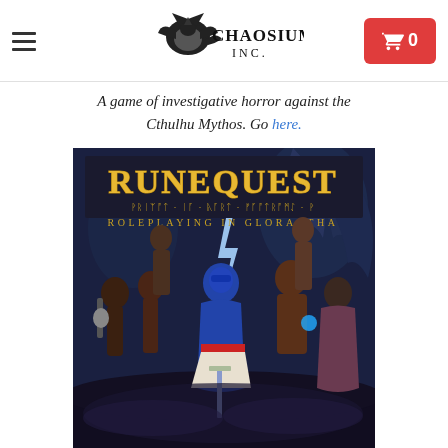Chaosium Inc. — Navigation header with logo, hamburger menu, and cart button showing 0 items
A game of investigative horror against the Cthulhu Mythos. Go here.
[Figure (illustration): RuneQuest: Roleplaying in Glorantha book cover art showing fantasy characters including warriors and sorcerers with runic text banner, dark atmospheric background with cosmic entities]